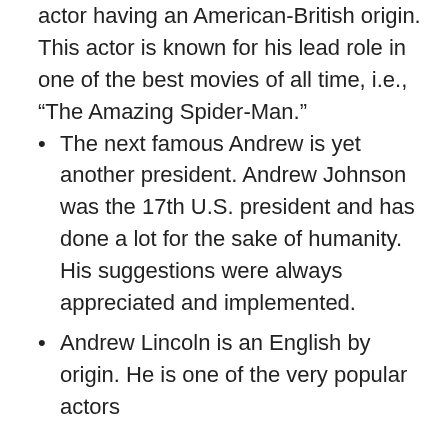actor having an American-British origin. This actor is known for his lead role in one of the best movies of all time, i.e., “The Amazing Spider-Man.”
The next famous Andrew is yet another president. Andrew Johnson was the 17th U.S. president and has done a lot for the sake of humanity. His suggestions were always appreciated and implemented.
Andrew Lincoln is an English by origin. He is one of the very popular actors